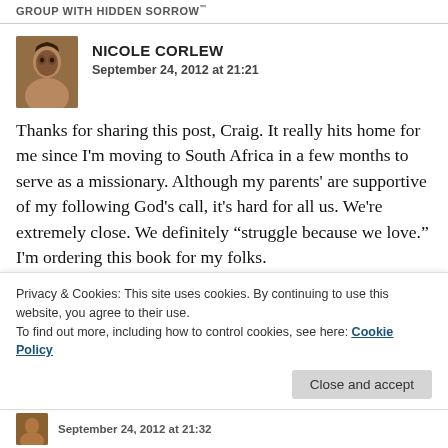GROUP WITH HIDDEN SORROW
[Figure (photo): Profile photo of Nicole Corlew, a woman smiling]
NICOLE CORLEW
September 24, 2012 at 21:21
Thanks for sharing this post, Craig. It really hits home for me since I'm moving to South Africa in a few months to serve as a missionary. Although my parents' are supportive of my following God's call, it's hard for all us. We're extremely close. We definitely “struggle because we love.” I'm ordering this book for my folks.
Like
Privacy & Cookies: This site uses cookies. By continuing to use this website, you agree to their use.
To find out more, including how to control cookies, see here: Cookie Policy
Close and accept
September 24, 2012 at 21:32